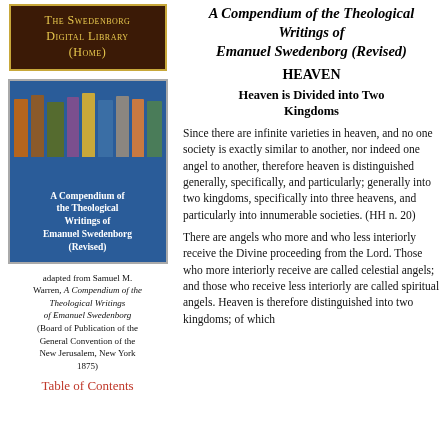The Swedenborg Digital Library (Home)
[Figure (illustration): Book cover image showing colored book spines on a blue background with text 'A Compendium of the Theological Writings of Emanuel Swedenborg (Revised)']
adapted from Samuel M. Warren, A Compendium of the Theological Writings of Emanuel Swedenborg (Board of Publication of the General Convention of the New Jerusalem, New York 1875)
Table of Contents
A Compendium of the Theological Writings of Emanuel Swedenborg (Revised)
HEAVEN
Heaven is Divided into Two Kingdoms
Since there are infinite varieties in heaven, and no one society is exactly similar to another, nor indeed one angel to another, therefore heaven is distinguished generally, specifically, and particularly; generally into two kingdoms, specifically into three heavens, and particularly into innumerable societies. (HH n. 20)
There are angels who more and who less interiorly receive the Divine proceeding from the Lord. Those who more interiorly receive are called celestial angels; and those who receive less interiorly are called spiritual angels. Heaven is therefore distinguished into two kingdoms; of which